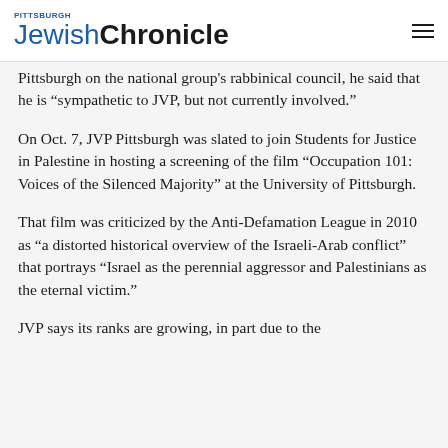Pittsburgh Jewish Chronicle
Pittsburgh on the national group's rabbinical council, he said that he is “sympathetic to JVP, but not currently involved.”
On Oct. 7, JVP Pittsburgh was slated to join Students for Justice in Palestine in hosting a screening of the film “Occupation 101: Voices of the Silenced Majority” at the University of Pittsburgh.
That film was criticized by the Anti-Defamation League in 2010 as “a distorted historical overview of the Israeli-Arab conflict” that portrays “Israel as the perennial aggressor and Palestinians as the eternal victim.”
JVP says its ranks are growing, in part due to the